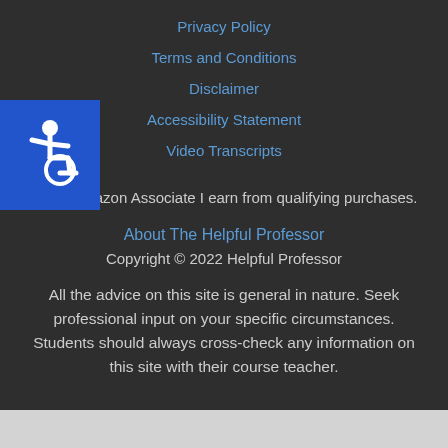Privacy Policy
Terms and Conditions
[Figure (illustration): Blue square accessibility icon with wheelchair symbol in white]
Disclaimer
Accessibility Statement
Video Transcripts
As an Amazon Associate I earn from qualifying purchases.
About The Helpful Professor
Copyright © 2022 Helpful Professor
All the advice on this site is general in nature. Seek professional input on your specific circumstances. Students should always cross-check any information on this site with their course teacher.